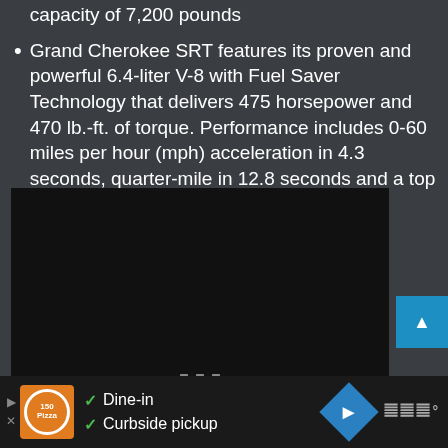capacity of 7,200 pounds
Grand Cherokee SRT features its proven and powerful 6.4-liter V-8 with Fuel Saver Technology that delivers 475 horsepower and 470 lb.-ft. of torque. Performance includes 0-60 miles per hour (mph) acceleration in 4.3 seconds, quarter-mile in 12.8 seconds and a top speed of 160 mph
[Figure (photo): Dark/black image area showing a vehicle photo (image not loaded), with navigation dots below and a scroll-to-top button on the right]
Dine-in  Curbside pickup